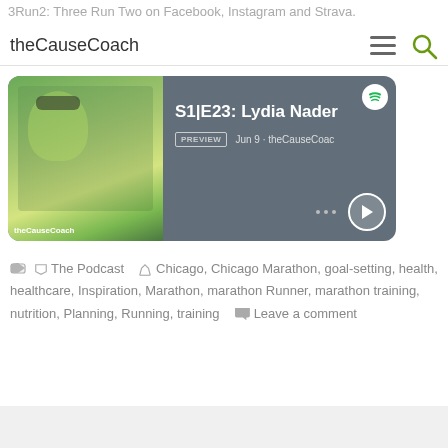3Run2: Three Run Two on Facebook, Instagram and Strava.
theCauseCoach
[Figure (screenshot): Spotify podcast embed player showing episode S1|E23: Lydia Nader, with PREVIEW badge, date Jun 9, theCauseCoach branding, play button and options]
The Podcast   Chicago, Chicago Marathon, goal-setting, health, healthcare, Inspiration, Marathon, marathon Runner, marathon training, nutrition, Planning, Running, training   Leave a comment